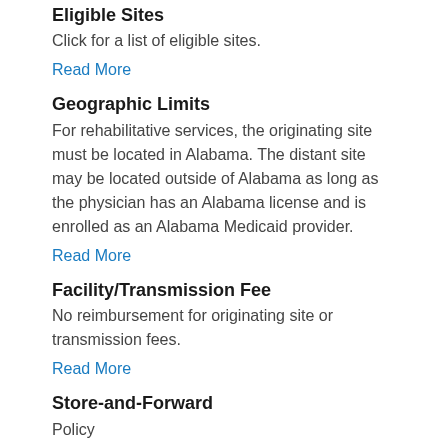Eligible Sites
Click for a list of eligible sites.
Read More
Geographic Limits
For rehabilitative services, the originating site must be located in Alabama. The distant site may be located outside of Alabama as long as the physician has an Alabama license and is enrolled as an Alabama Medicaid provider.
Read More
Facility/Transmission Fee
No reimbursement for originating site or transmission fees.
Read More
Store-and-Forward
Policy